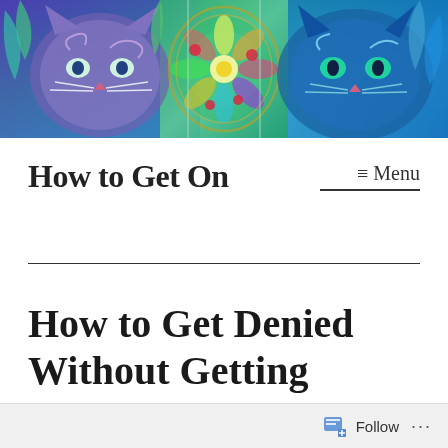[Figure (illustration): Colorful psychedelic illustration featuring cats and abstract floral/nature patterns in vivid blues, greens, purples, and reds — a banner image for a website.]
How to Get On
≡ Menu
How to Get Denied Without Getting Denied
Follow ...